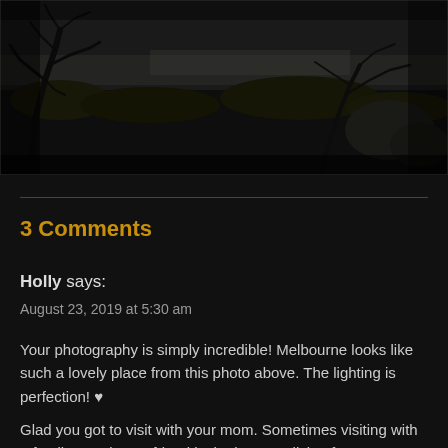[Figure (photo): Black and white landscape photo showing bare twisted trees and scrubby vegetation against a dark sky, with water or open land in the background. Dark, moody tones.]
3 Comments
Holly says:
August 23, 2019 at 5:30 am
Your photography is simply incredible! Melbourne looks like such a lovely place from this photo above. The lighting is perfection! ♥
Glad you got to visit with your mom. Sometimes visiting with a family member or friend is the best medicine for